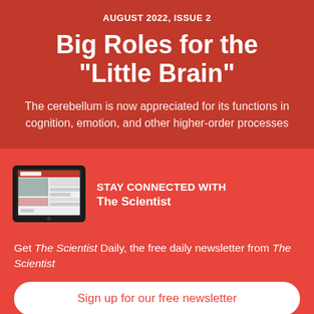AUGUST 2022, ISSUE 2
Big Roles for the "Little Brain"
The cerebellum is now appreciated for its functions in cognition, emotion, and other higher-order processes
[Figure (illustration): Tablet device showing The Scientist website]
STAY CONNECTED WITH The Scientist
Get The Scientist Daily, the free daily newsletter from The Scientist
Sign up for our free newsletter